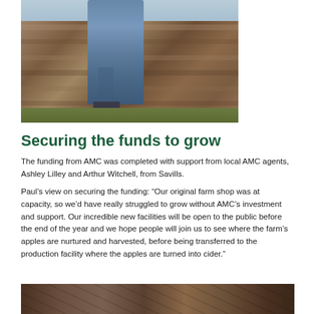[Figure (photo): Person in blue jeans and plaid shirt leaning against a stone wall]
Securing the funds to grow
The funding from AMC was completed with support from local AMC agents, Ashley Lilley and Arthur Witchell, from Savills.
Paul’s view on securing the funding: “Our original farm shop was at capacity, so we’d have really struggled to grow without AMC’s investment and support. Our incredible new facilities will be open to the public before the end of the year and we hope people will join us to see where the farm’s apples are nurtured and harvested, before being transferred to the production facility where the apples are turned into cider.”
[Figure (photo): Interior barn/wooden beam structure photograph, partially visible at bottom of page]